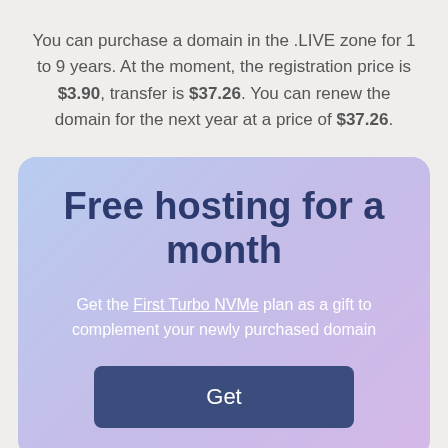You can purchase a domain in the .LIVE zone for 1 to 9 years. At the moment, the registration price is $3.90, transfer is $37.26. You can renew the domain for the next year at a price of $37.26.
Free hosting for a month
Get the First Turbo NVMe plan as a gift to complement your newly purchased domain
Get